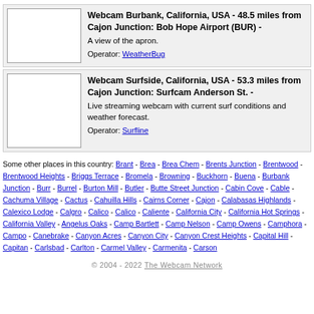[Figure (photo): Webcam thumbnail placeholder for Burbank Bob Hope Airport]
Webcam Burbank, California, USA - 48.5 miles from Cajon Junction: Bob Hope Airport (BUR) - A view of the apron. Operator: WeatherBug
[Figure (photo): Webcam thumbnail placeholder for Surfside Anderson St Surfcam]
Webcam Surfside, California, USA - 53.3 miles from Cajon Junction: Surfcam Anderson St. - Live streaming webcam with current surf conditions and weather forecast. Operator: Surfline
Some other places in this country: Brant - Brea - Brea Chem - Brents Junction - Brentwood - Brentwood Heights - Briggs Terrace - Bromela - Browning - Buckhorn - Buena - Burbank Junction - Burr - Burrel - Burton Mill - Butler - Butte Street Junction - Cabin Cove - Cable - Cachuma Village - Cactus - Cahuilla Hills - Cairns Corner - Cajon - Calabasas Highlands - Calexico Lodge - Calgro - Calico - Calico - Caliente - California City - California Hot Springs - California Valley - Angelus Oaks - Camp Bartlett - Camp Nelson - Camp Owens - Camphora - Campo - Canebrake - Canyon Acres - Canyon City - Canyon Crest Heights - Capital Hill - Capitan - Carlsbad - Carlton - Carmel Valley - Carmenita - Carson
© 2004 - 2022 The Webcam Network